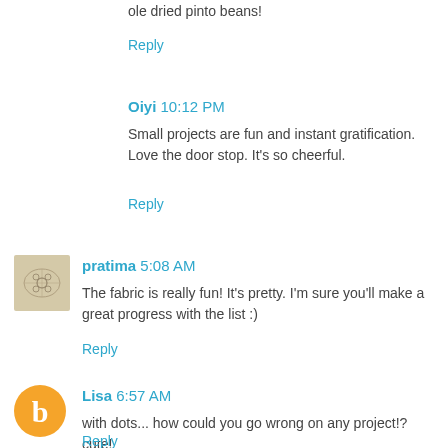ole dried pinto beans!
Reply
Oiyi 10:12 PM
Small projects are fun and instant gratification. Love the door stop. It's so cheerful.
Reply
[Figure (photo): Small square thumbnail avatar for pratima, beige/tan background with floral sketch]
pratima 5:08 AM
The fabric is really fun! It's pretty. I'm sure you'll make a great progress with the list :)
Reply
[Figure (logo): Orange circle Blogger 'b' logo avatar for Lisa]
Lisa 6:57 AM
with dots... how could you go wrong on any project!? cute!
Reply